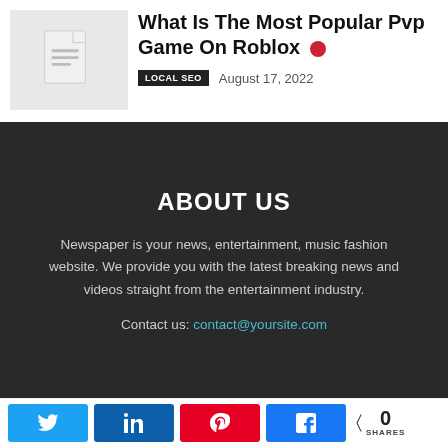[Figure (illustration): Document/file icon thumbnail in light gray box]
What Is The Most Popular Pvp Game On Roblox 🔴
LOCAL SEO   August 17, 2022
ABOUT US
Newspaper is your news, entertainment, music fashion website. We provide you with the latest breaking news and videos straight from the entertainment industry.
Contact us: contact@yoursite.com
0 SHARES — Twitter, LinkedIn, Pinterest, Facebook share buttons